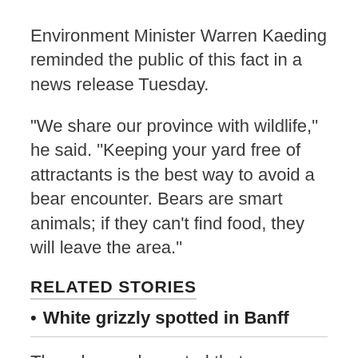Environment Minister Warren Kaeding reminded the public of this fact in a news release Tuesday.
"We share our province with wildlife," he said. "Keeping your yard free of attractants is the best way to avoid a bear encounter. Bears are smart animals; if they can't find food, they will leave the area."
RELATED STORIES
White grizzly spotted in Banff
The release also noted that regulations prohibit the feeding of bears and other predators such